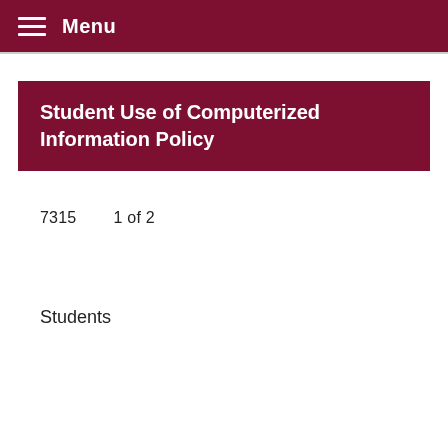Menu
Student Use of Computerized Information Policy
7315      1 of 2
Students